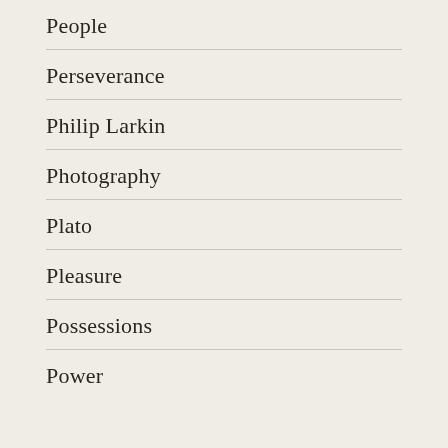People
Perseverance
Philip Larkin
Photography
Plato
Pleasure
Possessions
Power